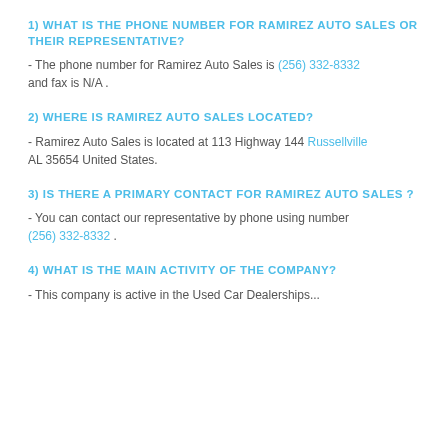1) WHAT IS THE PHONE NUMBER FOR RAMIREZ AUTO SALES OR THEIR REPRESENTATIVE?
- The phone number for Ramirez Auto Sales is (256) 332-8332 and fax is N/A .
2) WHERE IS RAMIREZ AUTO SALES LOCATED?
- Ramirez Auto Sales is located at 113 Highway 144 Russellville AL 35654 United States.
3) IS THERE A PRIMARY CONTACT FOR RAMIREZ AUTO SALES ?
- You can contact our representative by phone using number (256) 332-8332 .
4) WHAT IS THE MAIN ACTIVITY OF THE COMPANY?
- This company is active in the Used Car Dealerships...